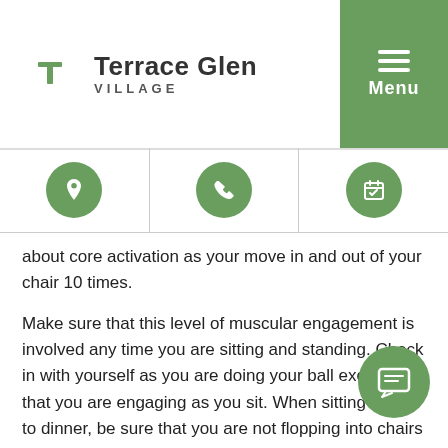Terrace Glen Village — Menu header with logo and navigation icons
about core activation as your move in and out of your chair 10 times.
Make sure that this level of muscular engagement is involved any time you are sitting and standing. Check in with yourself as you are doing your ball exercises that you are engaging as you sit. When sitting down to dinner, be sure that you are not flopping into chairs or twisting your way out of them. The goal here is to bring what we learn in our exercises to our daily movement to decrease physical vulnerability and increase strength.